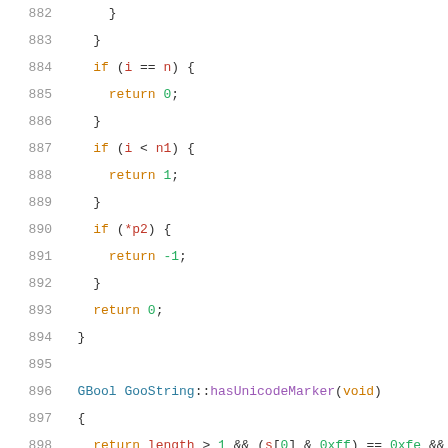882-903: Source code listing (C++) showing GooString methods including hasUnicodeMarker and sanitizedName
[Figure (screenshot): C++ source code listing with line numbers 882-903, showing conditional return statements and function definitions for GooString class methods]